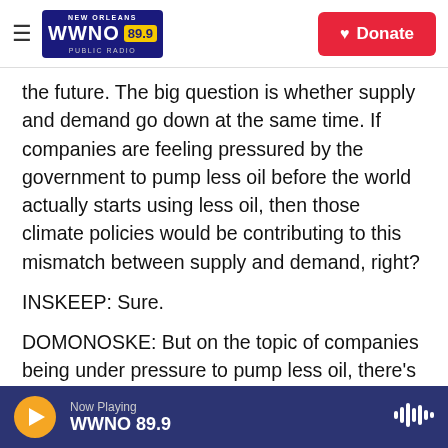NEW ORLEANS WWNO 89.9 PUBLIC RADIO | Donate
the future. The big question is whether supply and demand go down at the same time. If companies are feeling pressured by the government to pump less oil before the world actually starts using less oil, then those climate policies would be contributing to this mismatch between supply and demand, right?
INSKEEP: Sure.
DOMONOSKE: But on the topic of companies being under pressure to pump less oil, there's actually something else happening unrelated to climate
Now Playing WWNO 89.9